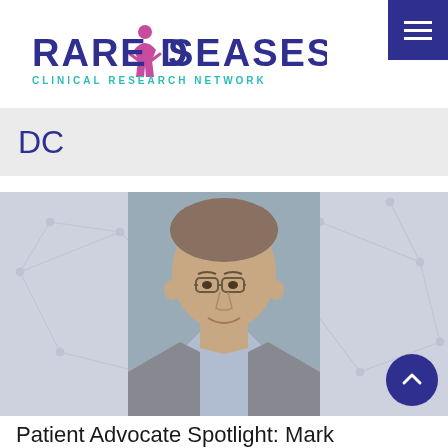[Figure (logo): Rare Diseases Clinical Research Network logo with stylized person figure]
DC
[Figure (photo): Portrait photo of a middle-aged man with glasses wearing a gray blazer and light blue shirt, smiling slightly]
Patient Advocate Spotlight: Mark